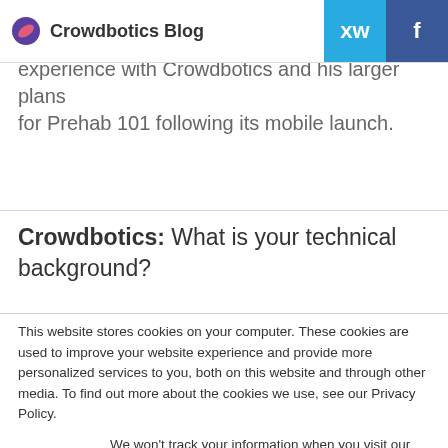Crowdbotics Blog
experience with Crowdbotics and his larger plans for Prehab 101 following its mobile launch.
Crowdbotics: What is your technical background?
This website stores cookies on your computer. These cookies are used to improve your website experience and provide more personalized services to you, both on this website and through other media. To find out more about the cookies we use, see our Privacy Policy.
We won't track your information when you visit our site. But in order to comply with your preferences, we'll have to use just one tiny cookie so that you're not asked to make this choice again.